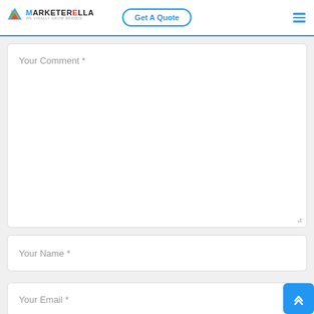[Figure (logo): Marketerella logo with colorful icon and text]
Get A Quote
Your Comment *
Your Name *
Your Email *